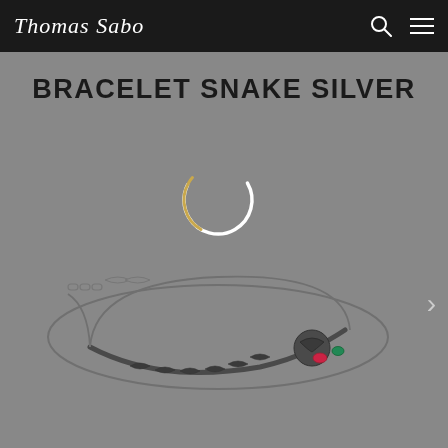Thomas Sabo
BRACELET SNAKE SILVER
[Figure (photo): Silver snake bracelet on grey background with a chain design and colorful gemstone snake head accent. A circular loading/spinner icon is visible in the center of the image. A right navigation arrow is visible on the right side.]